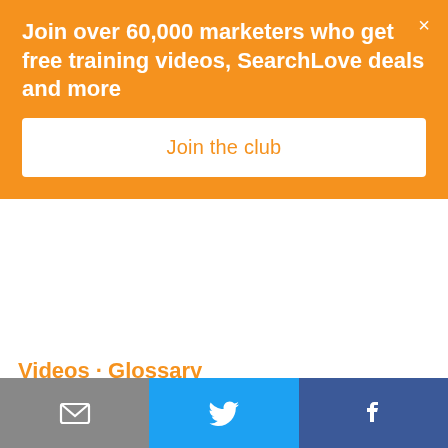[Figure (infographic): Orange promotional banner: 'Join over 60,000 marketers who get free training videos, SearchLove deals and more' with a 'Join the club' white button and close X]
Videos · Glossary
More Than Just Read and Write | Emailing in the Near Future
By Craig Bradford Published May 19, 2015 in the Marketing category
A couple of months ago I was on my way to work; it was 8am
[Figure (infographic): Social share footer bar with email (grey), Twitter (blue), and Facebook (dark blue) icons]